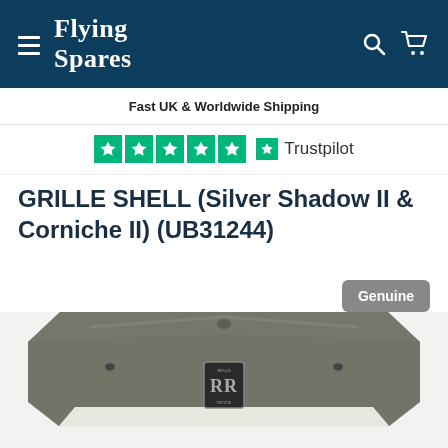Flying Spares
Fast UK & Worldwide Shipping
[Figure (logo): Trustpilot rating: five green stars with Trustpilot logo and text]
GRILLE SHELL (Silver Shadow II & Corniche II) (UB31244)
Genuine
[Figure (photo): Photo of a Rolls-Royce grille shell part (Silver Shadow II & Corniche II, part number UB31244) showing a chrome/dark metallic grille shell with the Rolls-Royce RR badge at center top]